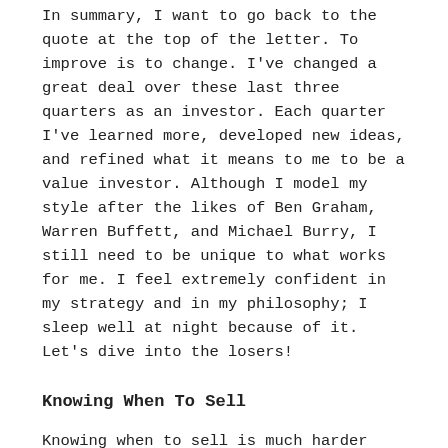In summary, I want to go back to the quote at the top of the letter. To improve is to change. I've changed a great deal over these last three quarters as an investor. Each quarter I've learned more, developed new ideas, and refined what it means to me to be a value investor. Although I model my style after the likes of Ben Graham, Warren Buffett, and Michael Burry, I still need to be unique to what works for me. I feel extremely confident in my strategy and in my philosophy; I sleep well at night because of it. Let's dive into the losers!
Knowing When To Sell
Knowing when to sell is much harder than knowing when to buy. When you buy a position,